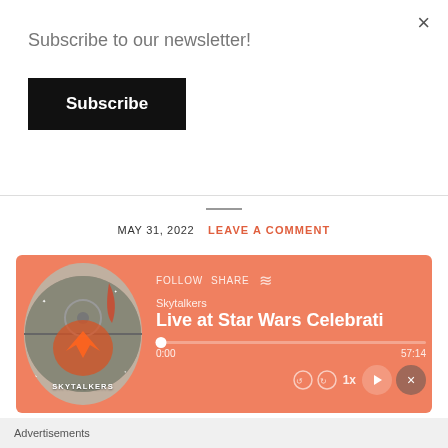Subscribe to our newsletter!
Subscribe
MAY 31, 2022   LEAVE A COMMENT
[Figure (screenshot): Podcast player widget with salmon/orange background showing 'Skytalkers — Live at Star Wars Celebrati' with album art, progress bar at 0:00/57:14, playback controls, FOLLOW and SHARE links]
Advertisements
[Figure (screenshot): WordPress.com advertisement banner with 'Start Today' button on lavender background]